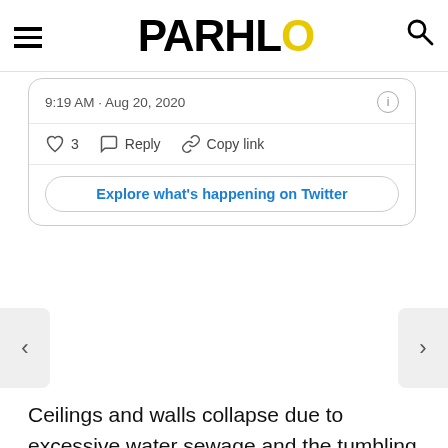PARHLO
[Figure (screenshot): Embedded Twitter/X card showing tweet metadata: 9:19 AM · Aug 20, 2020, with like (3), Reply, and Copy link actions, and an 'Explore what's happening on Twitter' button]
Ceilings and walls collapse due to excessive water sewage and the tumbling damage rolls on after the rain in Lahore.  Along with that, what is most surprising to us is how Pakistanis tend to find humor in the most bizarre form of situations.
Apparently, many felt that a comparison